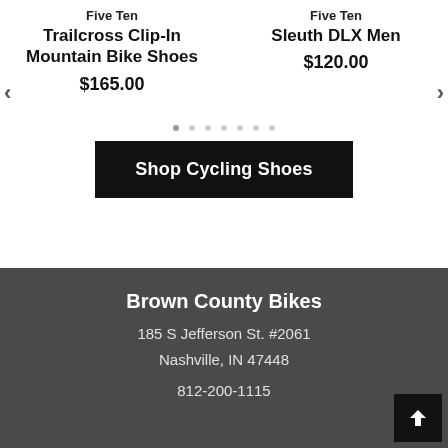Five Ten
Trailcross Clip-In Mountain Bike Shoes
$165.00
Five Ten
Sleuth DLX Men
$120.00
Shop Cycling Shoes
Brown County Bikes
185 S Jefferson St. #2061
Nashville, IN 47448
812-200-1115